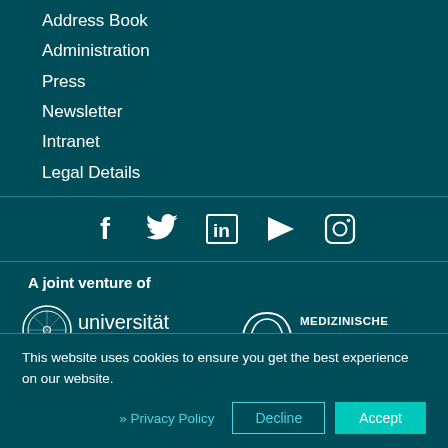Address Book
Administration
Press
Newsletter
Intranet
Legal Details
[Figure (other): Social media icons row: Facebook, Twitter, LinkedIn, YouTube, Instagram]
A joint venture of
[Figure (logo): Universität Wien logo with circular seal and text]
[Figure (logo): Medizinische Universität Wien logo with circular arch design and text]
This website uses cookies to ensure you get the best experience on our website.
» Privacy Policy
Decline
Accept